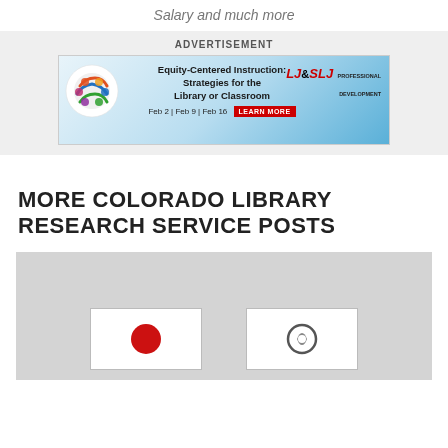Salary and much more
ADVERTISEMENT
[Figure (illustration): Advertisement banner for 'Equity-Centered Instruction: Strategies for the Library or Classroom' professional development by LJ & SLJ. Dates: Feb 2 | Feb 9 | Feb 16. Learn More button.]
MORE COLORADO LIBRARY RESEARCH SERVICE POSTS
[Figure (illustration): Gray image block showing a red dot icon and a circular icon (partially visible), likely a preview image for a related blog post.]